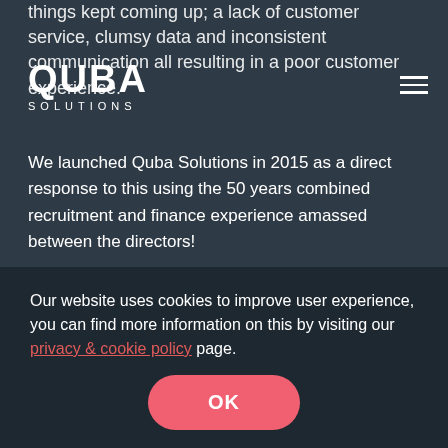QUBA SOLUTIONS
things kept coming up; a lack of customer service, clumsy data and inconsistent communication all resulting in a poor customer experience.
We launched Quba Solutions in 2015 as a direct response to this using the 50 years combined recruitment and finance experience amassed between the directors!
Now just like your business and every other business in the world, we are only as good as the people that make up the team – and Quba has grown carefully and organically with that in mind.
Here are introductions to some of our expert advisors in
Our website uses cookies to improve user experience, you can find more information on this by visiting our privacy & cookie policy page.
OK